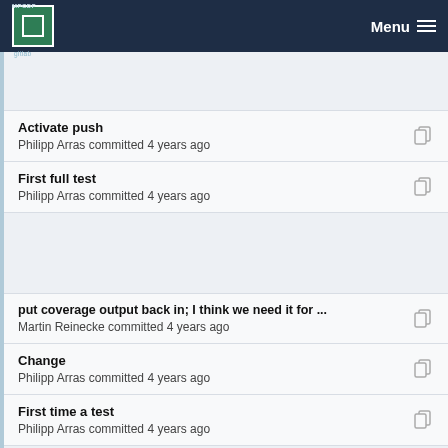MPCDF | Menu
Activate push
Philipp Arras committed 4 years ago
First full test
Philipp Arras committed 4 years ago
put coverage output back in; I think we need it for ...
Martin Reinecke committed 4 years ago
Change
Philipp Arras committed 4 years ago
First time a test
Philipp Arras committed 4 years ago